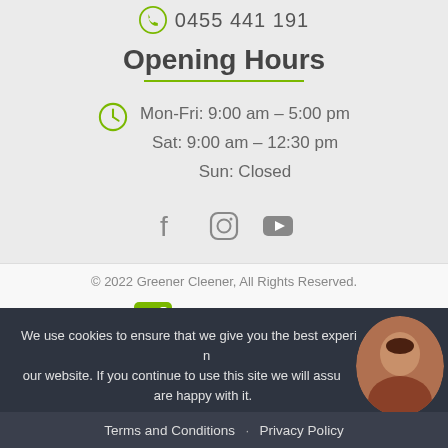0455 441 191
Opening Hours
Mon-Fri: 9:00 am – 5:00 pm
Sat: 9:00 am – 12:30 pm
Sun: Closed
[Figure (illustration): Social media icons: Facebook, Instagram, YouTube]
© 2022 Greener Cleener, All Rights Reserved.
[Figure (logo): Greener Cleener logo with green square icon and text]
We use cookies to ensure that we give you the best experience on our website. If you continue to use this site we will assume you are happy with it.
Terms and Conditions · Privacy Policy